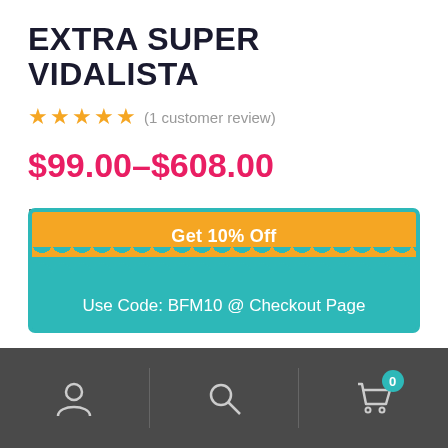EXTRA SUPER VIDALISTA
★★★★★ (1 customer review)
$99.00–$608.00
Extra Super Vidalista (Tadalafil and Dapoxetine) is a tablet used to treat erectile dysfunction and premature ejaculation in men.
Get 10% Off
Use Code: BFM10 @ Checkout Page